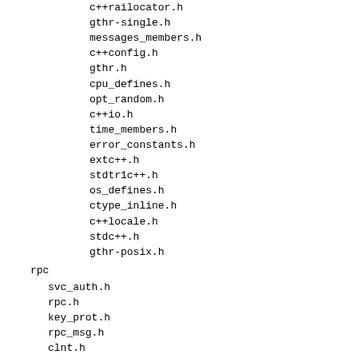crrailocator.h
gthr-single.h
messages_members.h
c++config.h
gthr.h
cpu_defines.h
opt_random.h
c++io.h
time_members.h
error_constants.h
extc++.h
stdtr1c++.h
os_defines.h
ctype_inline.h
c++locale.h
stdc++.h
gthr-posix.h
rpc
svc_auth.h
rpc.h
key_prot.h
rpc_msg.h
clnt.h